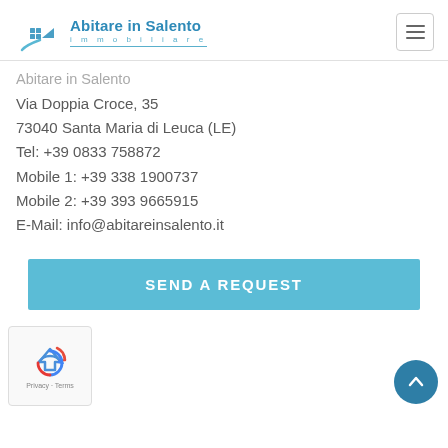Abitare in Salento immobiliare
Abitare in Salento
Via Doppia Croce, 35
73040 Santa Maria di Leuca (LE)
Tel: +39 0833 758872
Mobile 1: +39 338 1900737
Mobile 2: +39 393 9665915
E-Mail: info@abitareinsalento.it
[Figure (other): SEND A REQUEST button (teal/cyan background, white bold text)]
[Figure (other): reCAPTCHA widget box with Privacy - Terms text and recaptcha logo]
[Figure (other): Scroll to top button (dark teal circle with upward chevron)]